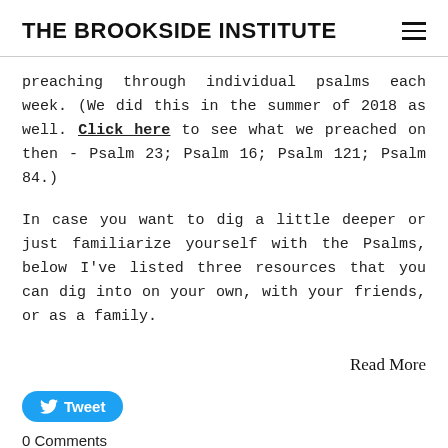THE BROOKSIDE INSTITUTE
preaching through individual psalms each week. (We did this in the summer of 2018 as well. Click here to see what we preached on then - Psalm 23; Psalm 16; Psalm 121; Psalm 84.)
In case you want to dig a little deeper or just familiarize yourself with the Psalms, below I've listed three resources that you can dig into on your own, with your friends, or as a family.
Read More
Tweet
0 Comments